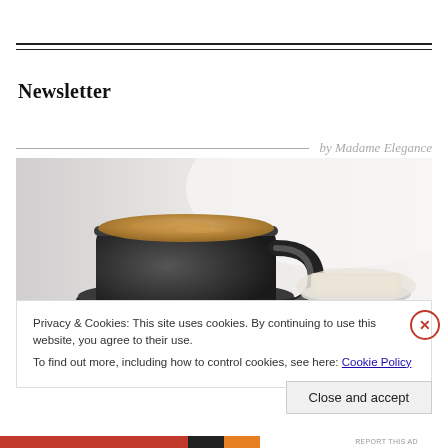Newsletter
by Madame Elegance
[Figure (photo): Photo of a dark coffee mug with frothy coffee on a saucer, with a small dish of butter or food item on a light background]
Privacy & Cookies: This site uses cookies. By continuing to use this website, you agree to their use.
To find out more, including how to control cookies, see here: Cookie Policy
Close and accept